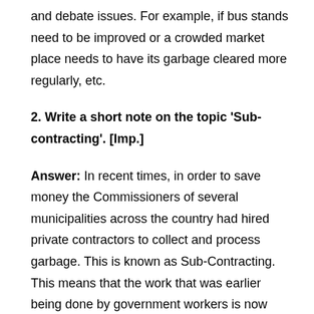and debate issues. For example, if bus stands need to be improved or a crowded market place needs to have its garbage cleared more regularly, etc.
2. Write a short note on the topic 'Sub-contracting'. [Imp.]
Answer: In recent times, in order to save money the Commissioners of several municipalities across the country had hired private contractors to collect and process garbage. This is known as Sub-Contracting. This means that the work that was earlier being done by government workers is now being done by a private company or agency. These contract workers get low